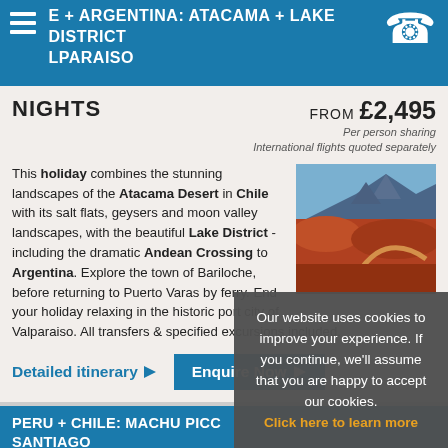E + ARGENTINA: ATACAMA + LAKE DISTRICT LPARAISO
NIGHTS FROM £2,495 Per person sharing International flights quoted separately
This holiday combines the stunning landscapes of the Atacama Desert in Chile with its salt flats, geysers and moon valley landscapes, with the beautiful Lake District - including the dramatic Andean Crossing to Argentina. Explore the town of Bariloche, before returning to Puerto Varas by ferry. End your holiday relaxing in the historic port city of Valparaiso. All transfers & specified excursions included.
Detailed itinerary ▶
Enquire Now ▶
PERU + CHILE: MACHU PICC... SANTIAGO
14 NIGHTS
International flights quoted separately
This fascinating Peru & Chile h... tours of Lima, the magnificent Machu Picchu & historic Cusco with the modern...
Our website uses cookies to improve your experience. If you continue, we'll assume that you are happy to accept our cookies. Click here to learn more